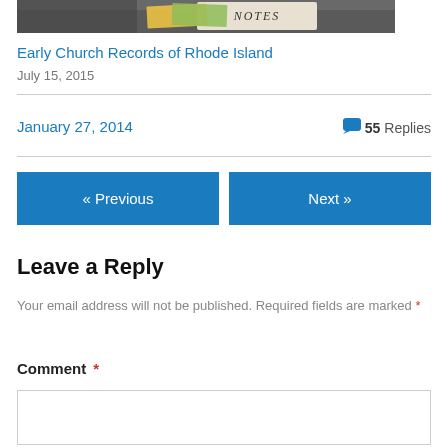[Figure (photo): Top portion of a photo showing books/notes on a dark background, partially cropped]
Early Church Records of Rhode Island
July 15, 2015
January 27, 2014
55 Replies
« Previous
Next »
Leave a Reply
Your email address will not be published. Required fields are marked *
Comment *